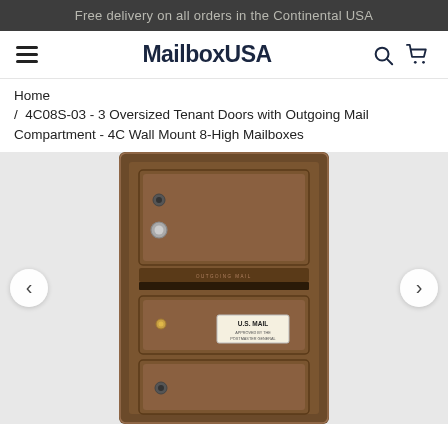Free delivery on all orders in the Continental USA
MailboxUSA
Home
/ 4C08S-03 - 3 Oversized Tenant Doors with Outgoing Mail Compartment - 4C Wall Mount 8-High Mailboxes
[Figure (photo): Brown/bronze 4C wall mount mailbox unit showing 3 oversized tenant doors and an outgoing mail compartment slot, with U.S. Mail Approved by the Postmaster General label visible on second door. Product shown from front at slight angle.]